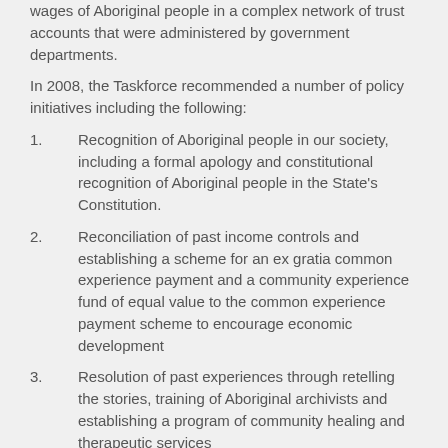wages of Aboriginal people in a complex network of trust accounts that were administered by government departments.
In 2008, the Taskforce recommended a number of policy initiatives including the following:
1. Recognition of Aboriginal people in our society, including a formal apology and constitutional recognition of Aboriginal people in the State's Constitution.
2. Reconciliation of past income controls and establishing a scheme for an ex gratia common experience payment and a community experience fund of equal value to the common experience payment scheme to encourage economic development
3. Resolution of past experiences through retelling the stories, training of Aboriginal archivists and establishing a program of community healing and therapeutic services
4. Allocation of resources to a two-year implementation program to establish a stolen wages unit.